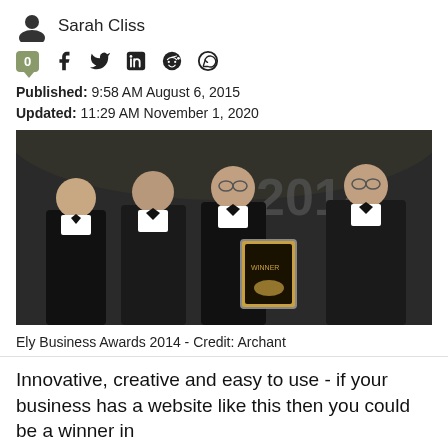Sarah Cliss
0 [social share icons: Facebook, Twitter, LinkedIn, Reddit, WhatsApp]
Published: 9:58 AM August 6, 2015
Updated: 11:29 AM November 1, 2020
[Figure (photo): Four men in black tie / tuxedos posing at Ely Business Awards 2014 event, one holding a framed award certificate. Background shows '2014' text.]
Ely Business Awards 2014 - Credit: Archant
Innovative, creative and easy to use - if your business has a website like this then you could be a winner in